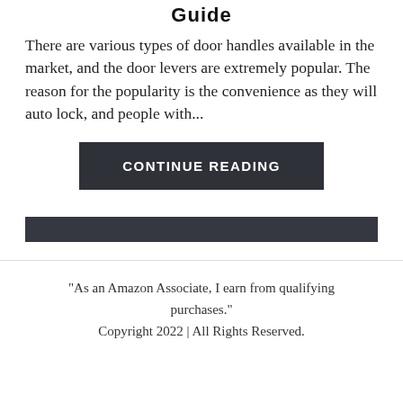Guide
There are various types of door handles available in the market, and the door levers are extremely popular. The reason for the popularity is the convenience as they will auto lock, and people with...
CONTINUE READING
"As an Amazon Associate, I earn from qualifying purchases."
Copyright 2022 | All Rights Reserved.